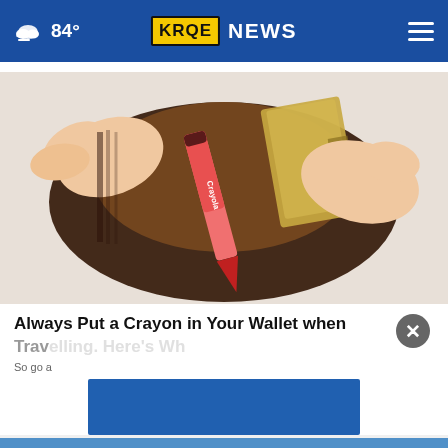84° KRQE NEWS
[Figure (photo): Hands holding open a brown leather wallet with a pink Crayola crayon and cash inside, on a white surface]
Always Put a Crayon in Your Wallet when Travelling. Here's Why
So go a...